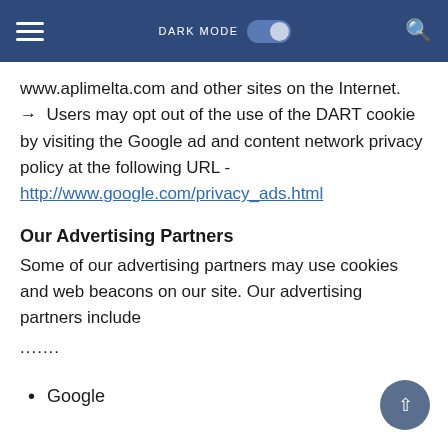DARK MODE [toggle] [search]
www.aplimelta.com and other sites on the Internet.
→ Users may opt out of the use of the DART cookie by visiting the Google ad and content network privacy policy at the following URL -
http://www.google.com/privacy_ads.html
Our Advertising Partners
Some of our advertising partners may use cookies and web beacons on our site. Our advertising partners include
.......
Google